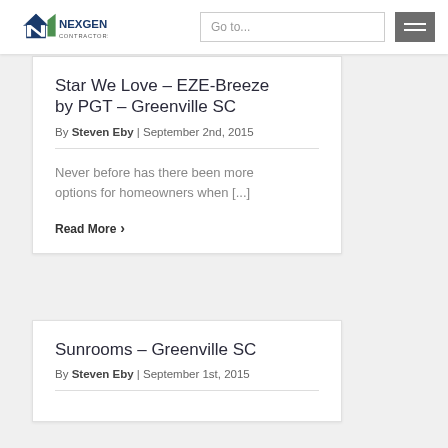NexGen Contractors - Go to...
Star We Love – EZE-Breeze by PGT – Greenville SC
By Steven Eby | September 2nd, 2015
Never before has there been more options for homeowners when [...]
Read More >
Sunrooms – Greenville SC
By Steven Eby | September 1st, 2015